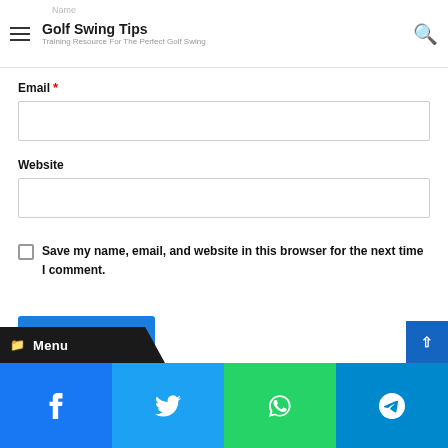Golf Swing Tips — Training Resource For The Perfect Golf Swing
Email *
Website
Save my name, email, and website in this browser for the next time I comment.
Post Comment
Menu
Facebook | Twitter | WhatsApp | Telegram